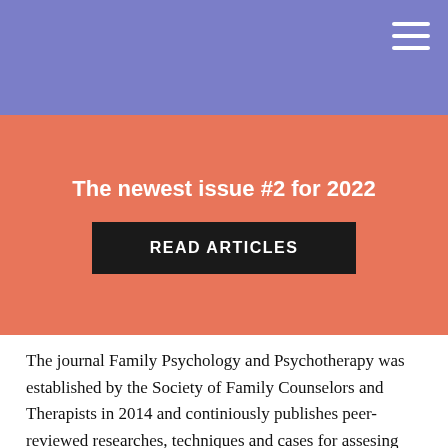The newest issue #2 for 2022
READ ARTICLES
The journal Family Psychology and Psychotherapy was established by the Society of Family Counselors and Therapists in 2014 and continiously publishes peer-reviewed researches, techniques and cases for assesing and treating couples and families. The journal has 4 issues per year and provides full open access to articles both in Russian and English language.